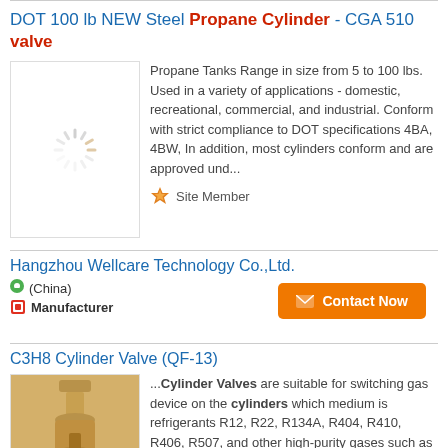DOT 100 lb NEW Steel Propane Cylinder - CGA 510 valve
[Figure (photo): Loading spinner icon indicating image not yet loaded, inside a bordered white box]
Propane Tanks Range in size from 5 to 100 lbs. Used in a variety of applications - domestic, recreational, commercial, and industrial. Conform with strict compliance to DOT specifications 4BA, 4BW, In addition, most cylinders conform and are approved und...
Site Member
Hangzhou Wellcare Technology Co.,Ltd.
(China)
Manufacturer
Contact Now
C3H8 Cylinder Valve (QF-13)
[Figure (photo): Brass cylinder valve component photographed against white background]
...Cylinder Valves are suitable for switching gas device on the cylinders which medium is refrigerants R12, R22, R134A, R404, R410, R406, R507, and other high-purity gases such as propane (C H8) with working pressure